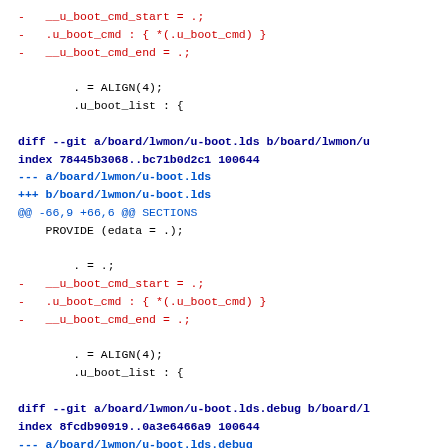-   __u_boot_cmd_start = .;
-   .u_boot_cmd : { *(.u_boot_cmd) }
-   __u_boot_cmd_end = .;

        . = ALIGN(4);
        .u_boot_list : {
diff --git a/board/lwmon/u-boot.lds b/board/lwmon/u
index 78445b3068..bc71b0d2c1 100644
--- a/board/lwmon/u-boot.lds
+++ b/board/lwmon/u-boot.lds
@@ -66,9 +66,6 @@ SECTIONS
     PROVIDE (edata = .);

        . = .;
-   __u_boot_cmd_start = .;
-   .u_boot_cmd : { *(.u_boot_cmd) }
-   __u_boot_cmd_end = .;

        . = ALIGN(4);
        .u_boot_list : {
diff --git a/board/lwmon/u-boot.lds.debug b/board/l
index 8fcdb90919..0a3e6466a9 100644
--- a/board/lwmon/u-boot.lds.debug
+++ b/board/lwmon/u-boot.lds.debug
@@ -107,9 +107,6 @@ SECTIONS
     _edata  =  .;
     PROVIDE (edata = .);